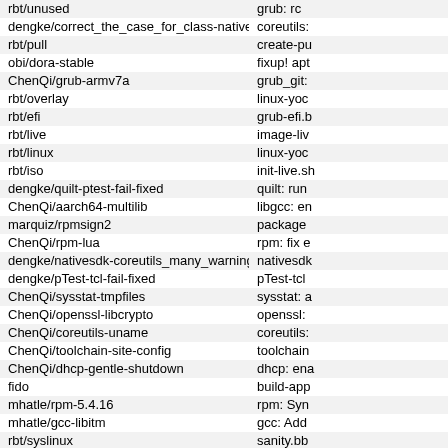| Branch | Commit |
| --- | --- |
| rbt/unused | grub: rc |
| dengke/correct_the_case_for_class-native | coreutils: |
| rbt/pull | create-pu |
| obi/dora-stable | fixup! apt |
| ChenQi/grub-armv7a | grub_git: |
| rbt/overlay | linux-yoc |
| rbt/efi | grub-efi.b |
| rbt/live | image-liv |
| rbt/linux | linux-yoc |
| rbt/iso | init-live.sh |
| dengke/quilt-ptest-fail-fixed | quilt: run |
| ChenQi/aarch64-multilib | libgcc: en |
| marquiz/rpmsign2 | package |
| ChenQi/rpm-lua | rpm: fix e |
| dengke/nativesdk-coreutils_many_warnings_fixed | nativesdk |
| dengke/pTest-tcl-fail-fixed | pTest-tcl |
| ChenQi/sysstat-tmpfiles | sysstat: a |
| ChenQi/openssl-libcrypto | openssl: |
| ChenQi/coreutils-uname | coreutils: |
| ChenQi/toolchain-site-config | toolchain |
| ChenQi/dhcp-gentle-shutdown | dhcp: ena |
| fido | build-app |
| mhatle/rpm-5.4.16 | rpm: Syn |
| mhatle/gcc-libitm | gcc: Add |
| rbt/syslinux | sanity.bb |
| dengke/pTest-strace-fail-fixed | pTest-stra |